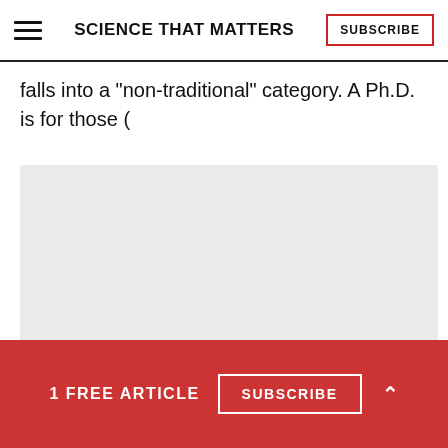SCIENCE THAT MATTERS | SUBSCRIBE
falls into a "non-traditional" category. A Ph.D. is for those (
[Figure (other): Gray advertisement placeholder box]
1 FREE ARTICLE  SUBSCRIBE